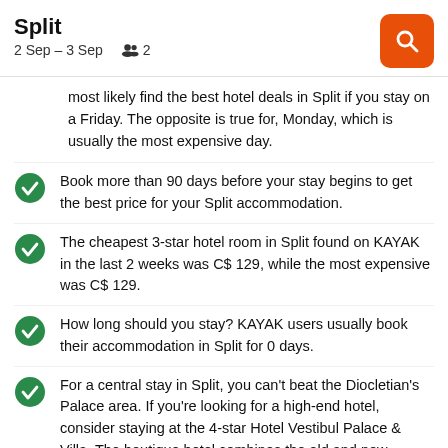Split | 2 Sep – 3 Sep | 2 guests
most likely find the best hotel deals in Split if you stay on a Friday. The opposite is true for, Monday, which is usually the most expensive day.
Book more than 90 days before your stay begins to get the best price for your Split accommodation.
The cheapest 3-star hotel room in Split found on KAYAK in the last 2 weeks was C$ 129, while the most expensive was C$ 129.
How long should you stay? KAYAK users usually book their accommodation in Split for 0 days.
For a central stay in Split, you can't beat the Diocletian's Palace area. If you're looking for a high-end hotel, consider staying at the 4-star Hotel Vestibul Palace & Villa. The boutique hotel combines the old and new, having been built and re-built during the Roman, Gothic and Renaissance eras. Nearby you can wander the fortress-like palace and its marble streets scattered with ruins. An alternative mid-range option is Hotel Slavija, a 3-